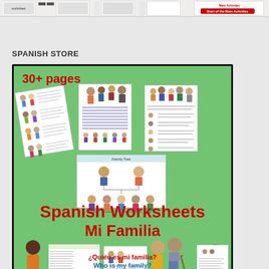[Figure (screenshot): Top strip showing thumbnail previews of educational worksheets with a red button on the right]
SPANISH STORE
[Figure (illustration): Product cover image for Spanish Worksheets Mi Familia workbook. Green background with 30+ pages badge, multiple worksheet thumbnails showing family vocabulary exercises, family tree diagram, cartoon family characters. Title reads 'Spanish Worksheets Mi Familia'. Bottom shows bilingual text '¿Quién es mi familia? / Who is my family?' with cartoon elderly couple and child figures.]